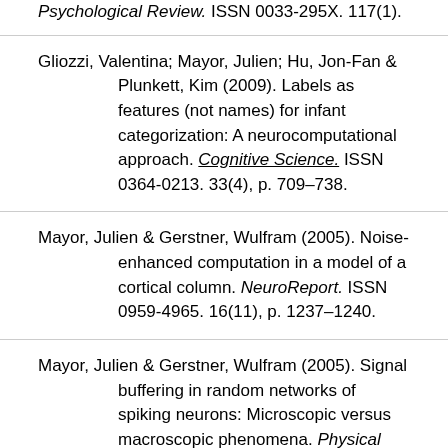Psychological Review. ISSN 0033-295X. 117(1). [partial, top of page]
Gliozzi, Valentina; Mayor, Julien; Hu, Jon-Fan & Plunkett, Kim (2009). Labels as features (not names) for infant categorization: A neurocomputational approach. Cognitive Science. ISSN 0364-0213. 33(4), p. 709–738.
Mayor, Julien & Gerstner, Wulfram (2005). Noise-enhanced computation in a model of a cortical column. NeuroReport. ISSN 0959-4965. 16(11), p. 1237–1240.
Mayor, Julien & Gerstner, Wulfram (2005). Signal buffering in random networks of spiking neurons: Microscopic versus macroscopic phenomena. Physical Review E. Statistical, Nonlinear, and Soft Matter Physics. ISSN [partial, bottom of page]